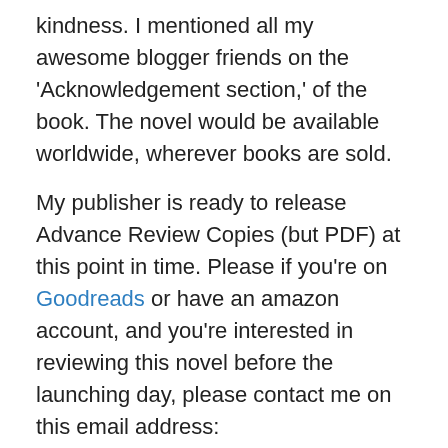kindness. I mentioned all my awesome blogger friends on the 'Acknowledgement section,' of the book. The novel would be available worldwide, wherever books are sold.
My publisher is ready to release Advance Review Copies (but PDF) at this point in time. Please if you're on Goodreads or have an amazon account, and you're interested in reviewing this novel before the launching day, please contact me on this email address: seyisandradavid@gmail.com and I'll respond with a digital copy.
[Figure (other): Advertisement banner: dark background with logo showing a square icon and number 2, text reading 'Fewer meetings, more work.' Label above reads 'Advertisements'.]
It's been hectic on my end (always so), I'll be moving house in a couple of days… yes, I'm excited but scared of